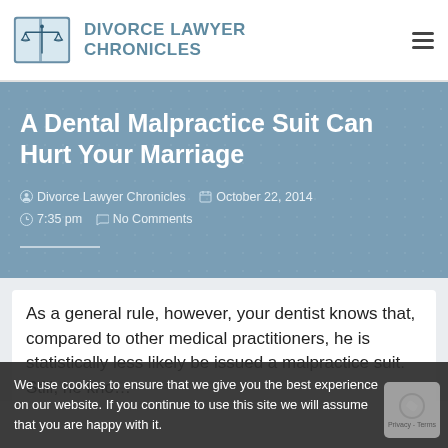DIVORCE LAWYER CHRONICLES
A Dental Malpractice Suit Can Hurt Your Marriage
Divorce Lawyer Chronicles   October 22, 2014   7:35 pm   No Comments
As a general rule, however, your dentist knows that, compared to other medical practitioners, he is statistically less likely be issued a malpractice suit. Still, he kno...
We use cookies to ensure that we give you the best experience on our website. If you continue to use this site we will assume that you are happy with it.